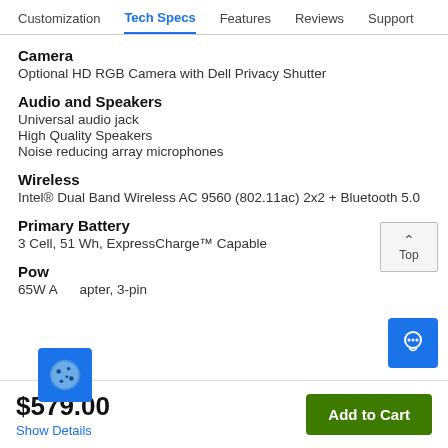Customization | Tech Specs | Features | Reviews | Support
Camera
Optional HD RGB Camera with Dell Privacy Shutter
Audio and Speakers
Universal audio jack
High Quality Speakers
Noise reducing array microphones
Wireless
Intel® Dual Band Wireless AC 9560 (802.11ac) 2x2 + Bluetooth 5.0
Primary Battery
3 Cell, 51 Wh, ExpressCharge™ Capable
Power
65W AC Adapter, 3-pin
$579.00
Show Details